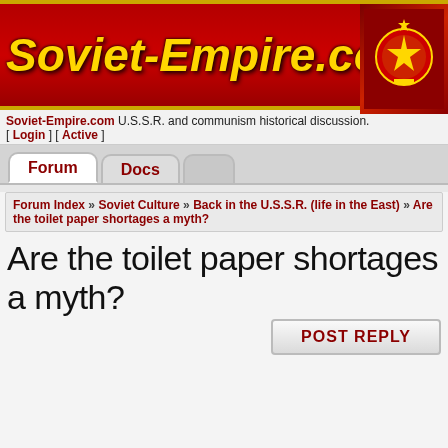[Figure (logo): Soviet-Empire.com banner with red background, gold border, gold italic bold text reading 'Soviet-Empire.com', and a Soviet emblem image on the right]
Soviet-Empire.com U.S.S.R. and communism historical discussion. [ Login ] [ Active ]
Forum | Docs
Forum Index » Soviet Culture » Back in the U.S.S.R. (life in the East) » Are the toilet paper shortages a myth?
Are the toilet paper shortages a myth?
POST REPLY